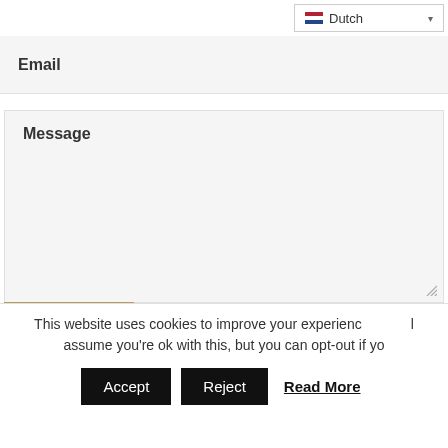[Figure (screenshot): Dutch language dropdown selector with Netherlands flag icon]
Email
Message
[Figure (other): Golden/tan colored submit button (partially visible)]
This website uses cookies to improve your experience. I assume you're ok with this, but you can opt-out if yo
Accept
Reject
Read More